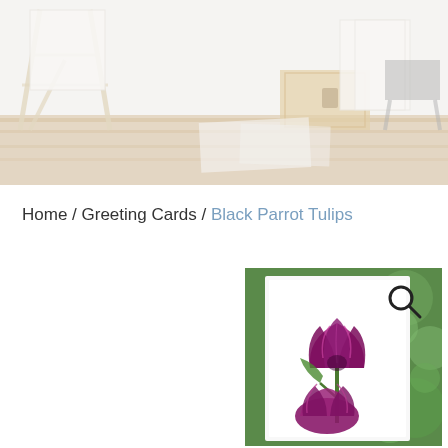[Figure (photo): Artist studio background photo showing easels, wooden crates, artwork, and a stool on a dark wood floor against a white wall. Image has a light, airy, slightly faded appearance.]
Home / Greeting Cards / Black Parrot Tulips
[Figure (photo): Product photo of a greeting card featuring a painted illustration of dark magenta/purple Black Parrot Tulips with ruffled petals, against a blurred green bokeh background. The card is shown at a slight angle with a white border.]
[Figure (illustration): Search magnifying glass icon in dark gray/black.]